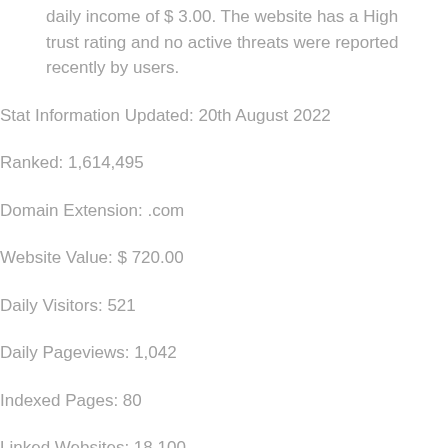daily income of $ 3.00. The website has a High trust rating and no active threats were reported recently by users.
Stat Information Updated: 20th August 2022
Ranked: 1,614,495
Domain Extension: .com
Website Value: $ 720.00
Daily Visitors: 521
Daily Pageviews: 1,042
Indexed Pages: 80
Linked Websites: 18,100